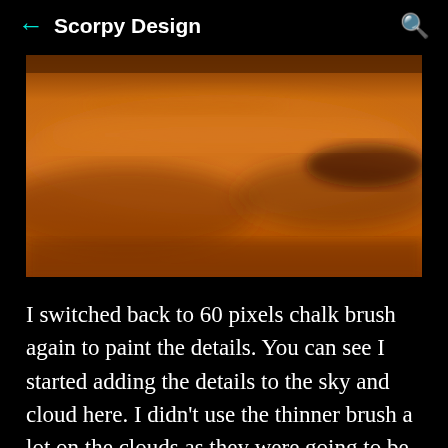← Scorpy Design 🔍
[Figure (photo): A digital painting showing an orange-brown hazy sky with cloud-like formations. The image has warm amber/brown tones throughout, depicting what appears to be a dusty or alien atmosphere with subtle cloud textures.]
I switched back to 60 pixels chalk brush again to paint the details. You can see I started adding the details to the sky and cloud here. I didn't use the thinner brush a lot on the clouds as they were going to be out of focus.